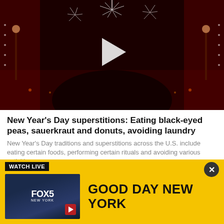[Figure (photo): Fireworks display over a boulevard with red lights and decorations, with a white play button triangle overlay in the center.]
New Year's Day superstitions: Eating black-eyed peas, sauerkraut and donuts, avoiding laundry
New Year's Day traditions and superstitions across the U.S. include eating certain foods, performing certain rituals and avoiding various activities.
LOS ANGELES - New Year's Day traditions and superstitions across the U.S. include eating certain foods, performing certain rituals and avoiding various
[Figure (screenshot): WATCH LIVE bar with FOX 5 New York thumbnail and GOOD DAY NEW YORK title on yellow background]